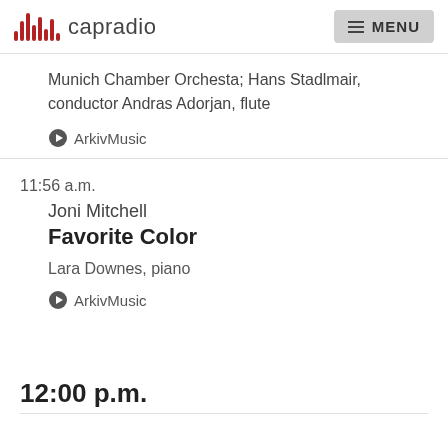capradio | MENU
Munich Chamber Orchesta; Hans Stadlmair, conductor Andras Adorjan, flute
▶ ArkivMusic
11:56 a.m.
Joni Mitchell
Favorite Color
Lara Downes, piano
▶ ArkivMusic
12:00 p.m.